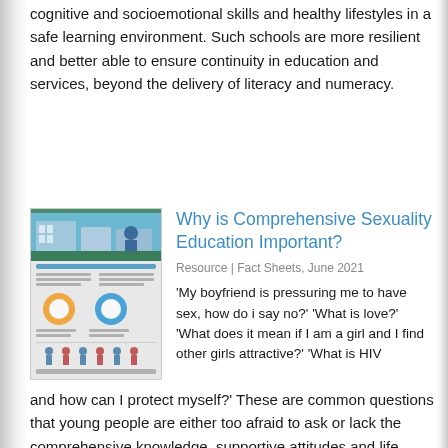cognitive and socioemotional skills and healthy lifestyles in a safe learning environment. Such schools are more resilient and better able to ensure continuity in education and services, beyond the delivery of literacy and numeracy.
[Figure (illustration): Thumbnail image of a fact sheet about Comprehensive Sexuality Education, showing infographic content with statistics and figures.]
Why is Comprehensive Sexuality Education Important?
Resource | Fact Sheets, June 2021
'My boyfriend is pressuring me to have sex, how do i say no?' 'What is love?' 'What does it mean if I am a girl and I find other girls attractive?' 'What is HIV and how can I protect myself?' These are common questions that young people are either too afraid to ask or lack the comprehensive knowledge, supportive attitudes and life skills they need to make these decisions about their lives and bodies safely and responsibly. Sexuality is a fundamental part of human life. Every young person will have to make decisions that impacts their sexual and